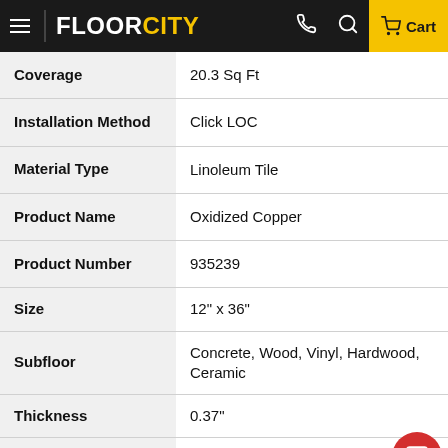FLOORCITY
| Attribute | Value |
| --- | --- |
| Coverage | 20.3 Sq Ft |
| Installation Method | Click LOC |
| Material Type | Linoleum Tile |
| Product Name | Oxidized Copper |
| Product Number | 935239 |
| Size | 12" x 36" |
| Subfloor | Concrete, Wood, Vinyl, Hardwood, Ceramic |
| Thickness | 0.37" |
| Warranty | Click Here to View Warranty |